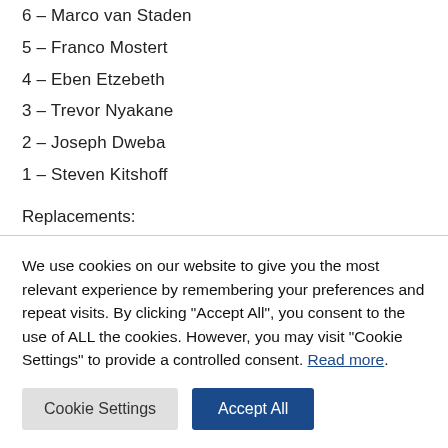6 – Marco van Staden
5 – Franco Mostert
4 – Eben Etzebeth
3 – Trevor Nyakane
2 – Joseph Dweba
1 – Steven Kitshoff
Replacements:
16 – Malcolm Marx
We use cookies on our website to give you the most relevant experience by remembering your preferences and repeat visits. By clicking "Accept All", you consent to the use of ALL the cookies. However, you may visit "Cookie Settings" to provide a controlled consent. Read more.